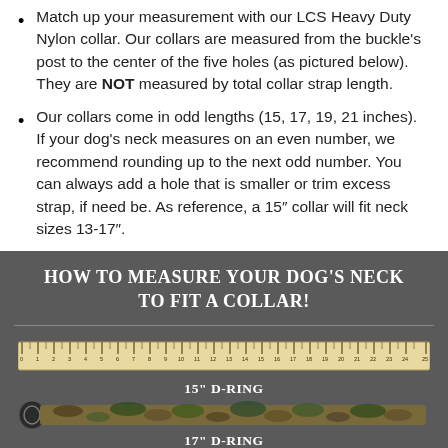Match up your measurement with our LCS Heavy Duty Nylon collar. Our collars are measured from the buckle's post to the center of the five holes (as pictured below). They are NOT measured by total collar strap length.
Our collars come in odd lengths (15, 17, 19, 21 inches). If your dog's neck measures on an even number, we recommend rounding up to the next odd number. You can always add a hole that is smaller or trim excess strap, if need be. As reference, a 15" collar will fit neck sizes 13-17".
HOW TO MEASURE YOUR DOG'S NECK TO FIT A COLLAR!
[Figure (infographic): Ruler image showing measurements from 0 to 25, with a 15" D-RING label below and a camouflage dog collar. A partially visible 17" D-RING label is at the bottom.]